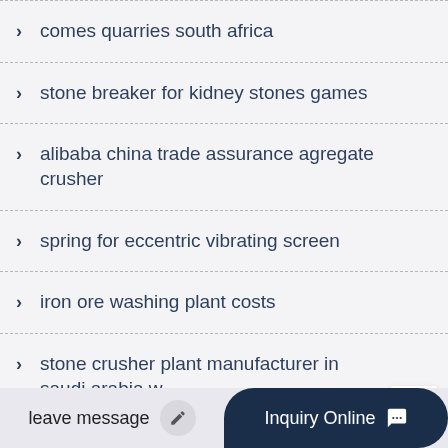comes quarries south africa
stone breaker for kidney stones games
alibaba china trade assurance agregate crusher
spring for eccentric vibrating screen
iron ore washing plant costs
stone crusher plant manufacturer in saudi arabia w project caust